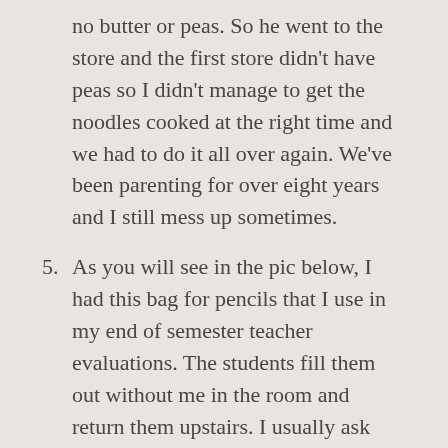no butter or peas. So he went to the store and the first store didn't have peas so I didn't manage to get the noodles cooked at the right time and we had to do it all over again. We've been parenting for over eight years and I still mess up sometimes.
5. As you will see in the pic below, I had this bag for pencils that I use in my end of semester teacher evaluations. The students fill them out without me in the room and return them upstairs. I usually ask that they give me my pencils back but maybe last Spring, someone left them upstairs instead. I didn't realize it until Summer when the bag resurfaced. I assumed I took it back until about a week ago when I went to find said bag and it was missing. I just